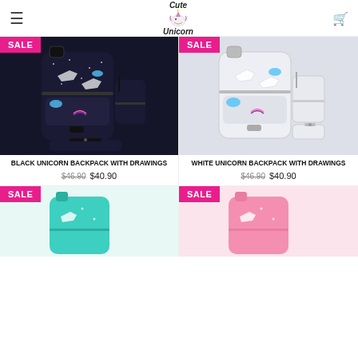Cute Unicorn
[Figure (photo): Black unicorn backpack set with drawings, shown with matching shoulder bag and pencil case]
BLACK UNICORN BACKPACK WITH DRAWINGS
$46.90 $40.90
[Figure (photo): White unicorn backpack set with drawings, shown with matching shoulder bag and pencil case]
WHITE UNICORN BACKPACK WITH DRAWINGS
$46.90 $40.90
[Figure (photo): Teal/turquoise unicorn backpack (partially visible)]
[Figure (photo): Pink unicorn backpack (partially visible)]